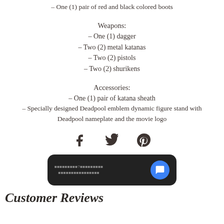– One (1) pair of red and black colored boots
Weapons:
– One (1) dagger
– Two (2) metal katanas
– Two (2) pistols
– Two (2) shurikens
Accessories:
– One (1) pair of katana sheath
– Specially designed Deadpool emblem dynamic figure stand with Deadpool nameplate and the movie logo
[Figure (other): Social sharing icons: Facebook, Twitter, Pinterest]
[Figure (other): Chat widget with dark background and blue message bubble icon]
Customer Reviews